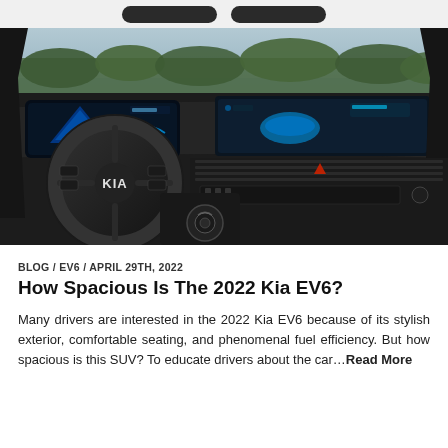[Figure (photo): Kia EV6 interior showing steering wheel with Kia logo, dual digital display screens (instrument cluster and infotainment), center console controls, with a scenic lake and trees visible through the windshield in the background.]
BLOG / EV6 / APRIL 29TH, 2022
How Spacious Is The 2022 Kia EV6?
Many drivers are interested in the 2022 Kia EV6 because of its stylish exterior, comfortable seating, and phenomenal fuel efficiency. But how spacious is this SUV? To educate drivers about the car...Read More